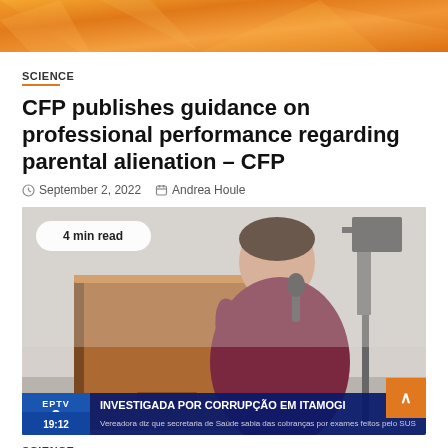[Figure (photo): Top decorative image with orange gradient pattern]
SCIENCE
CFP publishes guidance on professional performance regarding parental alienation – CFP
September 2, 2022   Andrea Houle
[Figure (photo): A woman speaking at a podium with a microphone in front of a TV news ticker overlay reading 'INVESTIGADA POR CORRUPÇÃO EM ITAMOGI' on EPTV channel 2 at 19:12. Badge reads '4 min read'.]
SCIENCE